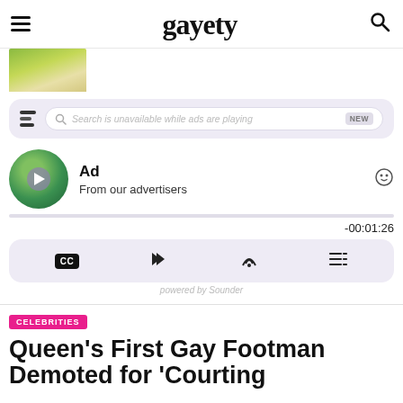gayety
[Figure (photo): Partial thumbnail image showing a person in a green/yellow outfit, cropped at bottom of header area]
[Figure (screenshot): Podcast player widget with search bar reading 'Search is unavailable while ads are playing' and NEW badge, with soundbite logo icon]
Ad
From our advertisers
-00:01:26
[Figure (screenshot): Podcast player controls bar showing CC, share, cast, and playlist icons]
powered by Sounder
CELEBRITIES
Queen's First Gay Footman Demoted for 'Courting